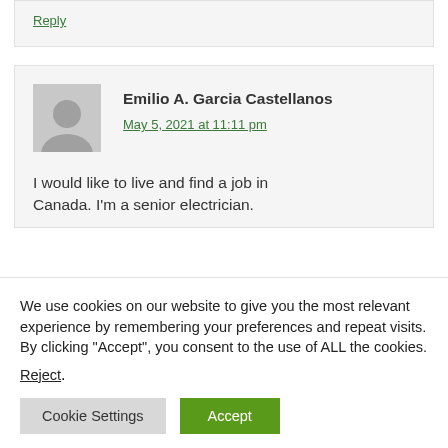Reply
Emilio A. Garcia Castellanos
May 5, 2021 at 11:11 pm
I would like to live and find a job in Canada. I'm a senior electrician.
We use cookies on our website to give you the most relevant experience by remembering your preferences and repeat visits. By clicking "Accept", you consent to the use of ALL the cookies. Reject.
Cookie Settings
Accept